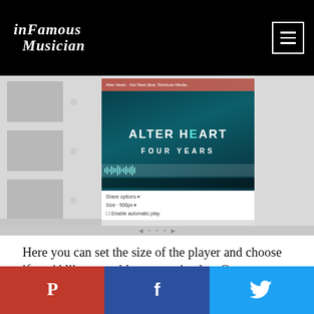inFamous Musician
[Figure (screenshot): Screenshot of a music player embed dialog showing Alter Heart 'Four Years' album art with teal/dark styling, embed options panel below with Size/Filter controls and Enable automatic play checkbox. Left side shows playlist thumbnails.]
Here you can set the size of the player and choose if you'd like to enable automatic play. Once you have your options set, scroll back up and copy the embed code. Then head over to the backend of your WordPress...